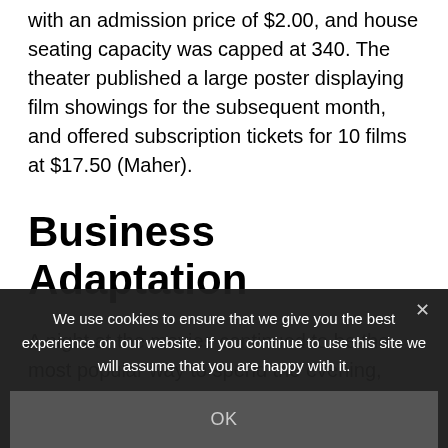with an admission price of $2.00, and house seating capacity was capped at 340. The theater published a large poster displaying film showings for the subsequent month, and offered subscription tickets for 10 films at $17.50 (Maher).
Business Adaptation
A night at the movies continued to be the most popular way to spend the evening, though young people were increasing in attendance, while their parents were decreasing. These adolescents and young adults became better known as the
We use cookies to ensure that we give you the best experience on our website. If you continue to use this site we will assume that you are happy with it.